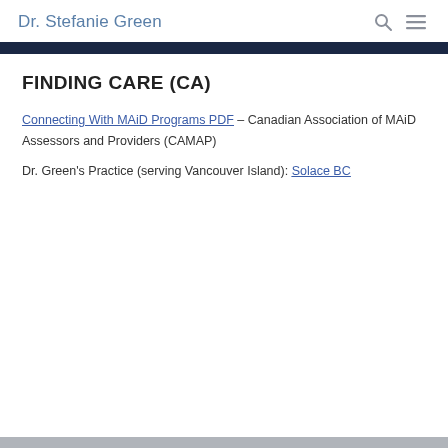Dr. Stefanie Green
FINDING CARE (CA)
Connecting With MAiD Programs PDF – Canadian Association of MAiD Assessors and Providers (CAMAP)
Dr. Green's Practice (serving Vancouver Island): Solace BC